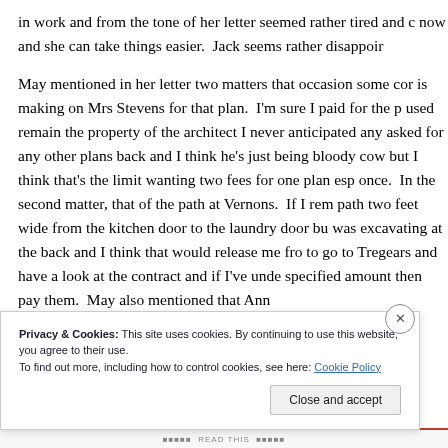in work and from the tone of her letter seemed rather tired and c now and she can take things easier.  Jack seems rather disappoir
May mentioned in her letter two matters that occasion some cor is making on Mrs Stevens for that plan.  I'm sure I paid for the p used remain the property of the architect I never anticipated any asked for any other plans back and I think he's just being bloody cow but I think that's the limit wanting two fees for one plan esp once.  In the second matter, that of the path at Vernons.  If I rem path two feet wide from the kitchen door to the laundry door bu was excavating at the back and I think that would release me fro to go to Tregears and have a look at the contract and if I've unde specified amount then pay them.  May also mentioned that Ann
Privacy & Cookies: This site uses cookies. By continuing to use this website, you agree to their use.
To find out more, including how to control cookies, see here: Cookie Policy
Close and accept